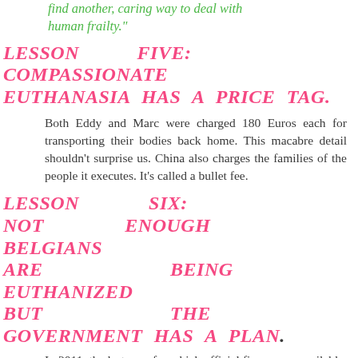find another, caring way to deal with human frailty."
LESSON FIVE: COMPASSIONATE EUTHANASIA HAS A PRICE TAG.
Both Eddy and Marc were charged 180 Euros each for transporting their bodies back home. This macabre detail shouldn't surprise us. China also charges the families of the people it executes. It's called a bullet fee.
LESSON SIX: NOT ENOUGH BELGIANS ARE BEING EUTHANIZED BUT THE GOVERNMENT HAS A PLAN.
In 2011, the last year for which official figures are available, 1133 people were euthanized in Belgium. A few days after the Verbessem brothers died, the government announced that it